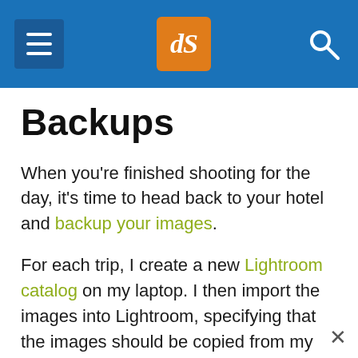dPS [logo] [hamburger menu] [search icon]
Backups
When you're finished shooting for the day, it's time to head back to your hotel and backup your images.
For each trip, I create a new Lightroom catalog on my laptop. I then import the images into Lightroom, specifying that the images should be copied from my SD cards to an SSD hard drive.